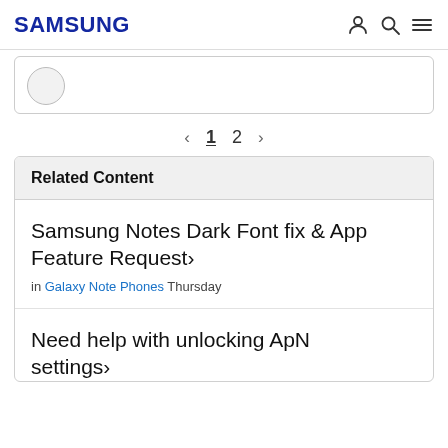SAMSUNG
[Figure (other): Truncated content card with avatar circle partially visible]
< 1 2 >
Related Content
Samsung Notes Dark Font fix & App Feature Request > in Galaxy Note Phones Thursday
Need help with unlocking ApN settings >